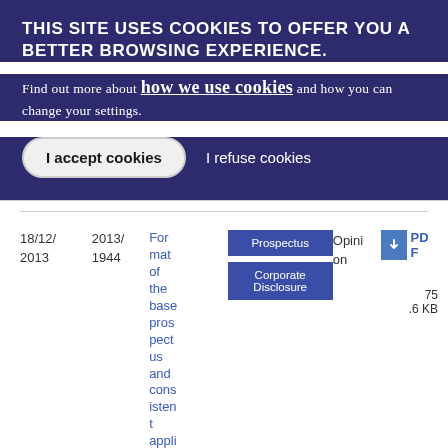THIS SITE USES COOKIES TO OFFER YOU A BETTER BROWSING EXPERIENCE.
Find out more about how we use cookies and how you can change your settings.
I accept cookies  |  I refuse cookies
| Date | Number | Title | Type | Opinion | PDF |
| --- | --- | --- | --- | --- | --- |
| 18/12/2013 | 2013/1944 | Format of the base prospectus and consistent appli… | Prospectus / Corporate Disclosure | Opinion | PDF 75.6 KB |